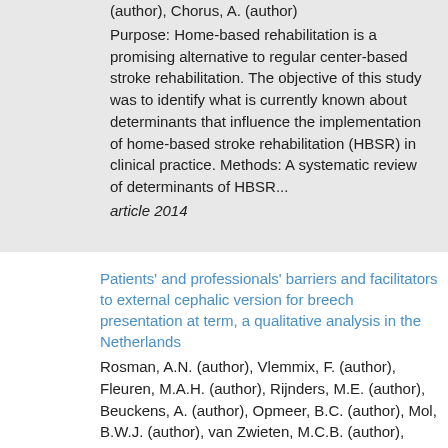(author), Chorus, A. (author)
[Figure (illustration): Document icon with lines, labeled 'document']
Purpose: Home-based rehabilitation is a promising alternative to regular center-based stroke rehabilitation. The objective of this study was to identify what is currently known about determinants that influence the implementation of home-based stroke rehabilitation (HBSR) in clinical practice. Methods: A systematic review of determinants of HBSR...
article 2014
Patients' and professionals' barriers and facilitators to external cephalic version for breech presentation at term, a qualitative analysis in the Netherlands
Rosman, A.N. (author), Vlemmix, F. (author), Fleuren, M.A.H. (author), Rijnders, M.E. (author), Beuckens, A. (author), Opmeer, B.C. (author), Mol, B.W.J. (author), van Zwieten, M.C.B. (author), Kok, M. (author)
[Figure (illustration): Document icon with lines, labeled 'document']
Objective: external cephalic version (ECV) is a relatively simple and safe manoeuvre and a proven effective approach in the reduction of breech